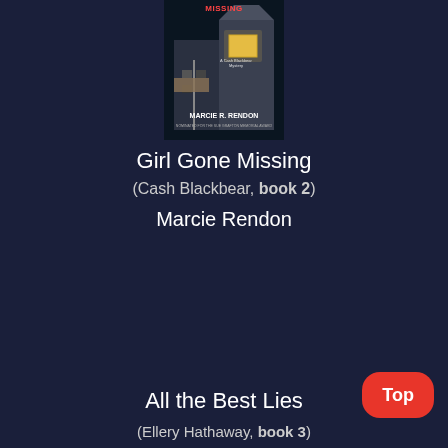[Figure (illustration): Book cover for 'Girl Gone Missing' by Marcie R. Rendon – A Cash Blackbear Mystery. Dark cover with a building at night, yellow lit window, title at top in white/red, author name at bottom.]
Girl Gone Missing
(Cash Blackbear, book 2)
Marcie Rendon
All the Best Lies
(Ellery Hathaway, book 3)